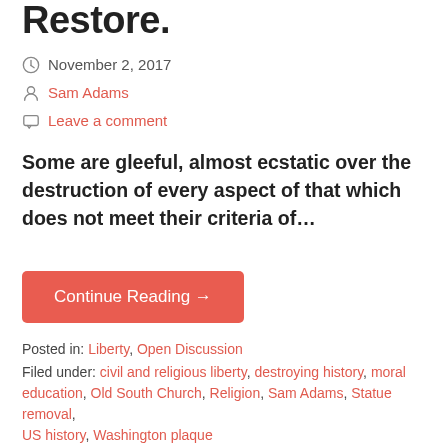Restore.
November 2, 2017
Sam Adams
Leave a comment
Some are gleeful, almost ecstatic over the destruction of every aspect of that which does not meet their criteria of…
Continue Reading →
Posted in: Liberty, Open Discussion
Filed under: civil and religious liberty, destroying history, moral education, Old South Church, Religion, Sam Adams, Statue removal, US history, Washington plaque